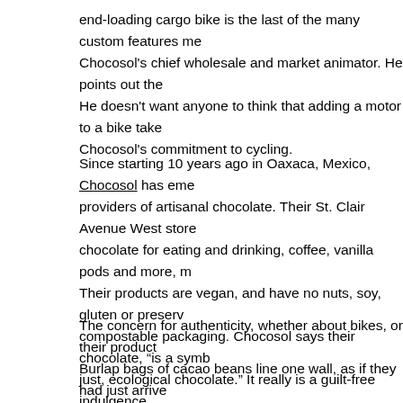end-loading cargo bike is the last of the many custom features me... Chocosol's chief wholesale and market animator. He points out the... He doesn't want anyone to think that adding a motor to a bike take... Chocosol's commitment to cycling.
Since starting 10 years ago in Oaxaca, Mexico, Chocosol has eme... providers of artisanal chocolate. Their St. Clair Avenue West store ... chocolate for eating and drinking, coffee, vanilla pods and more, m... Their products are vegan, and have no nuts, soy, gluten or preserv... compostable packaging. Chocosol says their chocolate, "is a symb... just, ecological chocolate." It really is a guilt-free indulgence.
The concern for authenticity, whether about bikes, or their products... Burlap bags of cacao beans line one wall, as if they had just arrive... firmly planted in the middle of the store, ready for customers to gri... members are visible through the kitchen door, including Michael S... dishes. Behind the kitchen is a thorough waste management syste... categories.